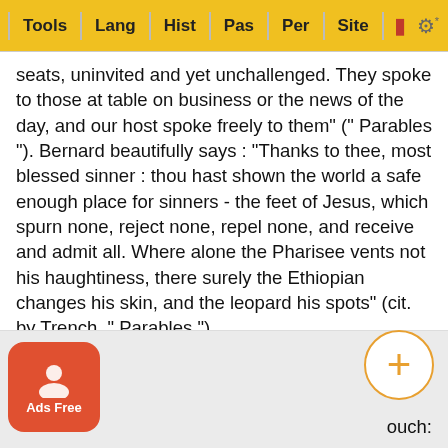Tools | Lang | Hist | Pas | Per | Site
seats, uninvited and yet unchallenged. They spoke to those at table on business or the news of the day, and our host spoke freely to them" (" Parables "). Bernard beautifully says : "Thanks to thee, most blessed sinner : thou hast shown the world a safe enough place for sinners - the feet of Jesus, which spurn none, reject none, repel none, and receive and admit all. Where alone the Pharisee vents not his haughtiness, there surely the Ethiopian changes his skin, and the leopard his spots" (cit. by Trench, " Parables ").
Sat [κατακειται] . Lit., is reclining at meat : a lively change to the present tense.
Alabaster. See on Matthew 26:7.
Vers
At his